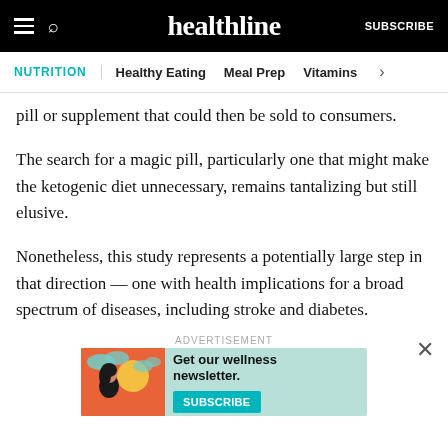healthline | NUTRITION | Healthy Eating | Meal Prep | Vitamins
pill or supplement that could then be sold to consumers.
The search for a magic pill, particularly one that might make the ketogenic diet unnecessary, remains tantalizing but still elusive.
Nonetheless, this study represents a potentially large step in that direction — one with health implications for a broad spectrum of diseases, including stroke and diabetes.
[Figure (screenshot): Advertisement banner with coral/orange illustration of a woman, teal background, text 'Get our wellness newsletter.' and a teal SUBSCRIBE button]